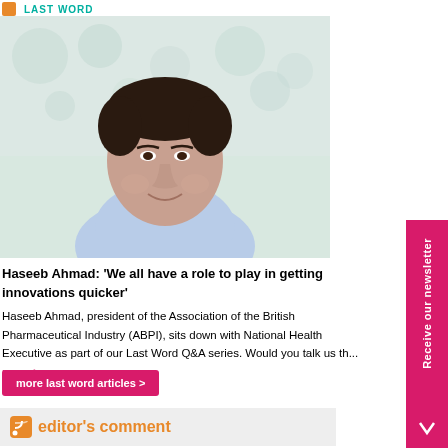last word
[Figure (photo): Portrait photo of Haseeb Ahmad, a man in a light blue shirt, smiling, photographed indoors with a bright blurred background]
Haseeb Ahmad: 'We all have a role to play in getting innovations quicker'
Haseeb Ahmad, president of the Association of the British Pharmaceutical Industry (ABPI), sits down with National Health Executive as part of our Last Word Q&A series. Would you talk us th... more >
more last word articles >
editor's comment